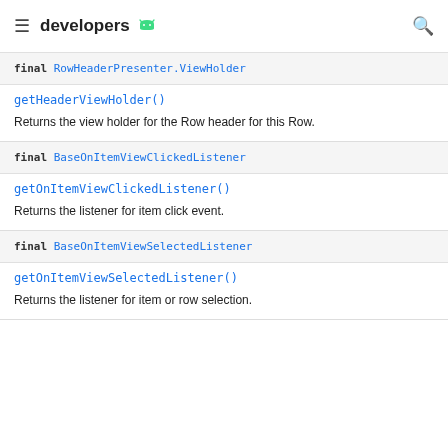developers
final RowHeaderPresenter.ViewHolder
getHeaderViewHolder()
Returns the view holder for the Row header for this Row.
final BaseOnItemViewClickedListener
getOnItemViewClickedListener()
Returns the listener for item click event.
final BaseOnItemViewSelectedListener
getOnItemViewSelectedListener()
Returns the listener for item or row selection.